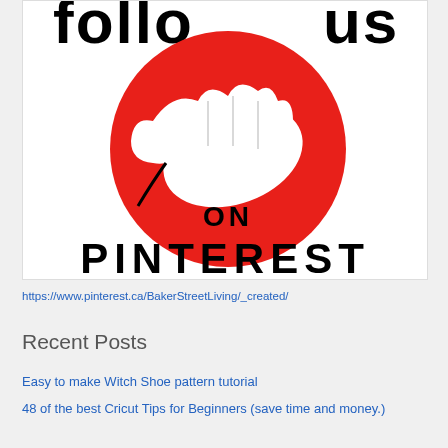[Figure (illustration): Follow us on Pinterest graphic: bold black text 'follow us' at top, large red circle in center with a white hand/cursor icon pointing, text 'ON' inside the circle, bold black text 'PINTEREST' below the circle]
https://www.pinterest.ca/BakerStreetLiving/_created/
Recent Posts
Easy to make Witch Shoe pattern tutorial
48 of the best Cricut Tips for Beginners (save time and money.)